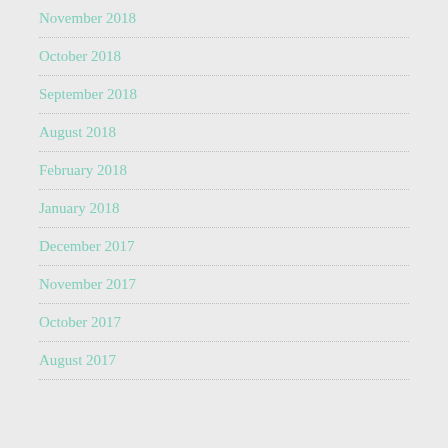November 2018
October 2018
September 2018
August 2018
February 2018
January 2018
December 2017
November 2017
October 2017
August 2017